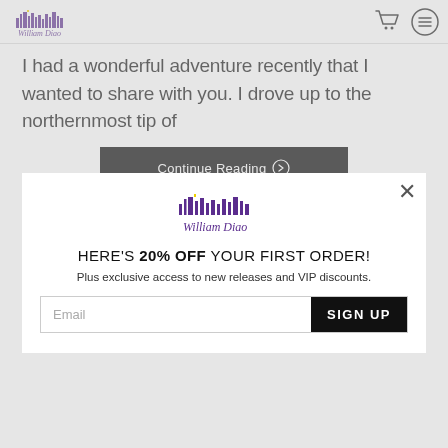William Diao Photography — navigation header with logo, cart icon, and menu icon
I had a wonderful adventure recently that I wanted to share with you. I drove up to the northernmost tip of
Continue Reading →
[Figure (logo): William Diao Photography logo — city skyline silhouette with purple coloring]
HERE'S 20% OFF YOUR FIRST ORDER!
Plus exclusive access to new releases and VIP discounts.
Email  SIGN UP